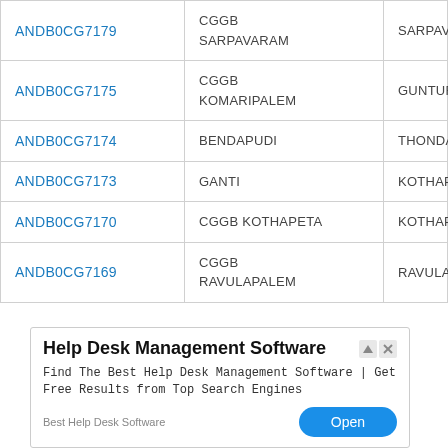| IFSC Code | Branch | City |
| --- | --- | --- |
| ANDB0CG7179 | CGGB
SARPAVARAM | SARPAVARAM |
| ANDB0CG7175 | CGGB
KOMARIPALEM | GUNTUR |
| ANDB0CG7174 | BENDAPUDI | THONDANGI |
| ANDB0CG7173 | GANTI | KOTHAPETA |
| ANDB0CG7170 | CGGB KOTHAPETA | KOTHAPETA |
| ANDB0CG7169 | CGGB
RAVULAPALEM | RAVULAPALEM |
[Figure (other): Advertisement overlay: Help Desk Management Software - Find The Best Help Desk Management Software | Get Free Results from Top Search Engines. Best Help Desk Software. Open button.]